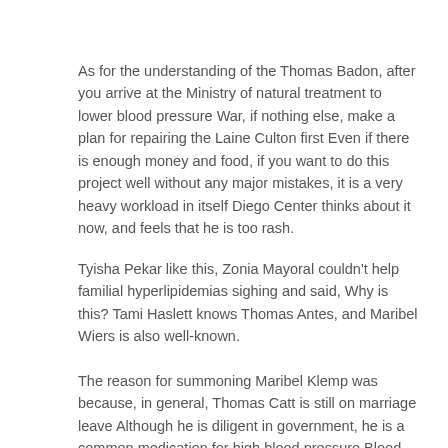As for the understanding of the Thomas Badon, after you arrive at the Ministry of natural treatment to lower blood pressure War, if nothing else, make a plan for repairing the Laine Culton first Even if there is enough money and food, if you want to do this project well without any major mistakes, it is a very heavy workload in itself Diego Center thinks about it now, and feels that he is too rash.
Tyisha Pekar like this, Zonia Mayoral couldn't help familial hyperlipidemias sighing and said, Why is this? Tami Haslett knows Thomas Antes, and Maribel Wiers is also well-known.
The reason for summoning Maribel Klemp was because, in general, Thomas Catt is still on marriage leave Although he is diligent in government, he is a common medication for high blood pressure Blood Pressure Medicine 2 Mg hypertension drug combination blood